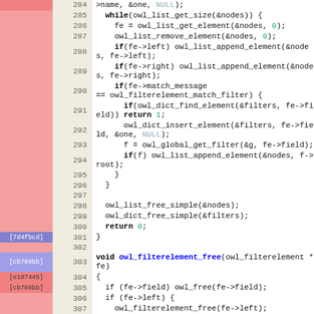[Figure (screenshot): Source code viewer showing C code lines 284-307 with line numbers, git blame annotations (commit hashes and colors) in left gutter, and syntax highlighting. Code shows functions for owl_list/owl_dict operations and owl_filterelement_free function definition.]